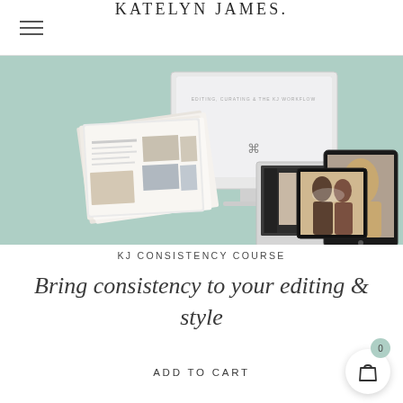KATELYN JAMES.
[Figure (illustration): Product mockup showing a magazine/booklet, iMac desktop, iPad tablet, and MacBook laptop on a sage/mint green background, representing the KJ Consistency Course digital and print materials]
KJ CONSISTENCY COURSE
Bring consistency to your editing & style
ADD TO CART